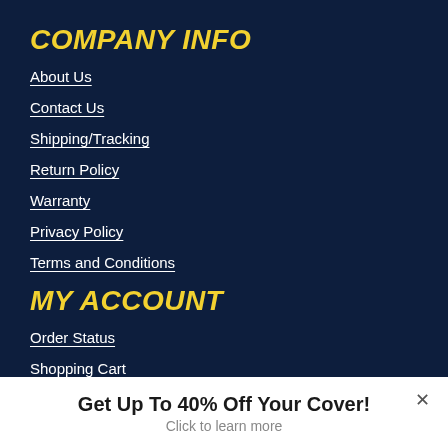COMPANY INFO
About Us
Contact Us
Shipping/Tracking
Return Policy
Warranty
Privacy Policy
Terms and Conditions
MY ACCOUNT
Order Status
Shopping Cart
RESOURCES
FAQ
Get Up To 40% Off Your Cover!
Click to learn more